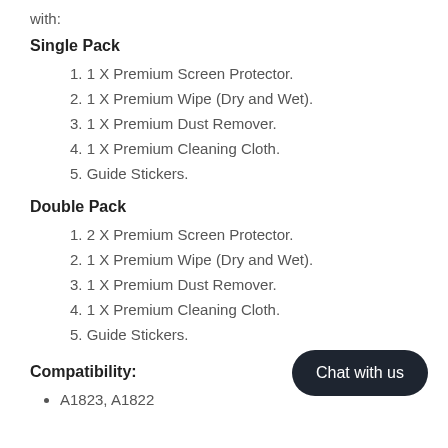with:
Single Pack
1. 1 X Premium Screen Protector.
2. 1 X Premium Wipe (Dry and Wet).
3. 1 X Premium Dust Remover.
4. 1 X Premium Cleaning Cloth.
5. Guide Stickers.
Double Pack
1. 2 X Premium Screen Protector.
2. 1 X Premium Wipe (Dry and Wet).
3. 1 X Premium Dust Remover.
4. 1 X Premium Cleaning Cloth.
5. Guide Stickers.
Compatibility:
A1823, A1822